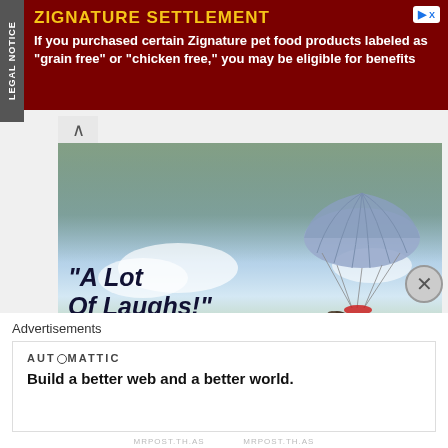[Figure (screenshot): Advertisement banner for Zignature Settlement legal notice with dark red background. Text reads: ZIGNATURE SETTLEMENT - If you purchased certain Zignature pet food products labeled as "grain free" or "chicken free," you may be eligible for benefits. Left side has vertical 'LEGAL NOTICE' tab.]
[Figure (photo): Walt Disney Pictures movie promotional poster showing an elephant attached to a parachute floating in a blue sky with clouds. Text includes quote 'A Lot Of Laughs!' attributed to Joel Siegel ABC-TV, and Walt Disney Pictures Presents logo. People visible in background at top.]
Advertisements
AUTOMATTIC
Build a better web and a better world.